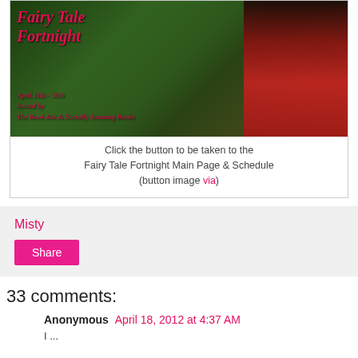[Figure (illustration): Fairy Tale Fortnight banner image showing a woman in red cloak crouching among green foliage with red text overlay reading 'Fairy Tale Fortnight', 'April 11th - 30th', 'hosted by', 'The Book Rat & Socially Amazing Books']
Click the button to be taken to the Fairy Tale Fortnight Main Page & Schedule (button image via)
Misty
Share
33 comments:
Anonymous April 18, 2012 at 4:37 AM